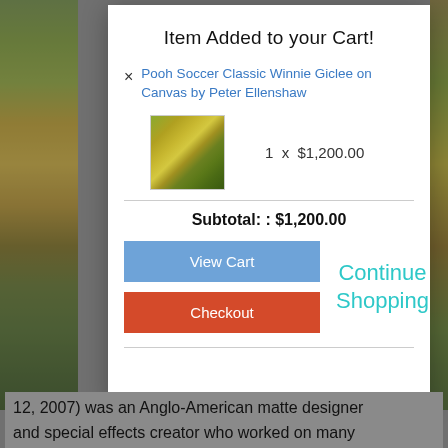[Figure (screenshot): E-commerce 'Item Added to your Cart!' modal dialog overlay on a webpage. The modal contains a product title link in blue, a product thumbnail image of a painted landscape, quantity and price (1 x $1,200.00), subtotal ($1,200.00), a blue 'View Cart' button, a red 'Checkout' button, and a cyan 'Continue Shopping' link. The background shows a partially visible webpage with a painted forest image on the left and text content.]
Item Added to your Cart!
Pooh Soccer Classic Winnie Giclee on Canvas by Peter Ellenshaw
1  x  $1,200.00
Subtotal: : $1,200.00
View Cart
Continue Shopping
Checkout
12, 2007) was an Anglo-American matte designer and special effects creator who worked on many Disney features...